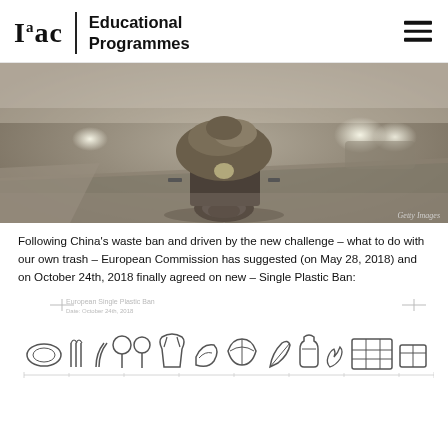Iaac | Educational Programmes
[Figure (photo): A heavily loaded motorcycle or tricycle driving on a foggy road, viewed from behind, with cars in the background. Getty Images watermark visible.]
Following China's waste ban and driven by the new challenge – what to do with our own trash – European Commission has suggested (on May 28, 2018) and on October 24th, 2018 finally agreed on new – Single Plastic Ban:
[Figure (infographic): European Single Plastic Ban infographic dated October 24th, 2018. Shows line-drawn icons of various single-use plastic items including plates, cutlery, straws, balloons, cups, containers, fishing gear, bottles, bags, cigarette filters, and food containers arranged in a row with a timeline/scale below.]